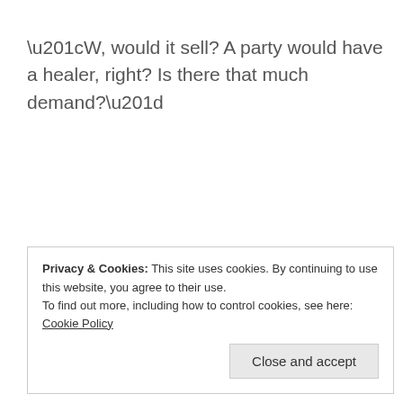“W, would it sell? A party would have a healer, right? Is there that much demand?”
Privacy & Cookies: This site uses cookies. By continuing to use this website, you agree to their use.
To find out more, including how to control cookies, see here: Cookie Policy
Close and accept